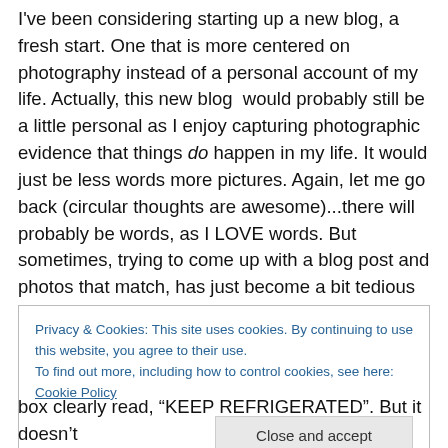I've been considering starting up a new blog, a fresh start. One that is more centered on photography instead of a personal account of my life. Actually, this new blog would probably still be a little personal as I enjoy capturing photographic evidence that things do happen in my life. It would just be less words more pictures. Again, let me go back (circular thoughts are awesome)...there will probably be words, as I LOVE words. But sometimes, trying to come up with a blog post and photos that match, has just become a bit tedious for me. And I don't think a hobby should be tedious.
Privacy & Cookies: This site uses cookies. By continuing to use this website, you agree to their use. To find out more, including how to control cookies, see here: Cookie Policy
box clearly read, "KEEP REFRIGERATED". But it doesn't